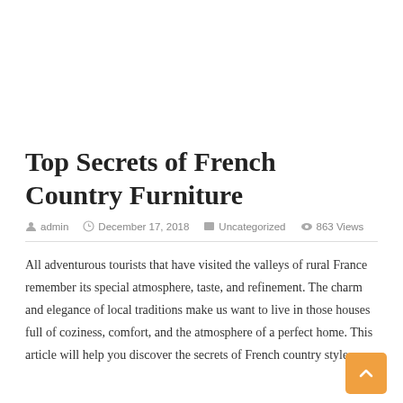Top Secrets of French Country Furniture
admin  December 17, 2018  Uncategorized  863 Views
All adventurous tourists that have visited the valleys of rural France remember its special atmosphere, taste, and refinement. The charm and elegance of local traditions make us want to live in those houses full of coziness, comfort, and the atmosphere of a perfect home. This article will help you discover the secrets of French country style.